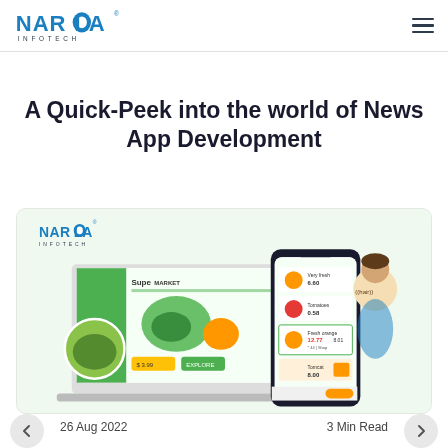Narola Infotech
A Quick-Peek into the world of News App Development
[Figure (screenshot): Narola Infotech promotional image showing a supermarket app on laptop and mobile phone screens with grocery items and a woman standing.]
26 Aug 2022
3 Min Read